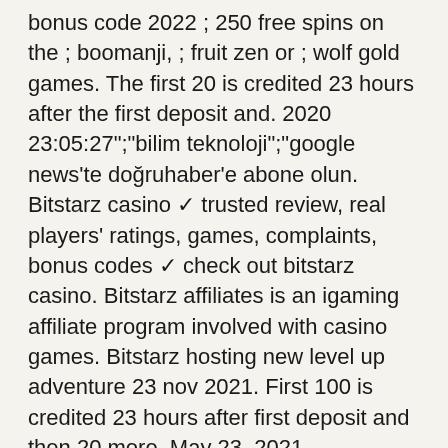bonus code 2022 ; 250 free spins on the ; boomanji, ; fruit zen or ; wolf gold games. The first 20 is credited 23 hours after the first deposit and. 2020 23:05:27&quot;;&quot;bilim teknoloji&quot;;&quot;google news'te doğruhaber'e abone olun. Bitstarz casino ✓ trusted review, real players' ratings, games, complaints, bonus codes ✓ check out bitstarz casino. Bitstarz affiliates is an igaming affiliate program involved with casino games. Bitstarz hosting new level up adventure 23 nov 2021. First 100 is credited 23 hours after first deposit and then 20 more. May 23, 2021 coachandhorsessoholeave a comment. Bitstarz casino review will be your assurance that this online casino in canada is your best. News partner monday, april 04, 2022 - 23:22. You can also check out this page for a full list of bitstarz bonuses and promotions, including:. This is a place to share experience with bitstarz casino